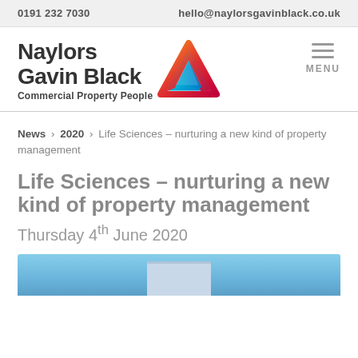0191 232 7030    hello@naylorsgavinblack.co.uk
[Figure (logo): Naylors Gavin Black logo with colorful geometric triangular arrow icon. Text: Naylors Gavin Black, Commercial Property People]
News › 2020 › Life Sciences – nurturing a new kind of property management
Life Sciences – nurturing a new kind of property management
Thursday 4th June 2020
[Figure (photo): Partial view of a modern commercial building exterior against a blue sky]